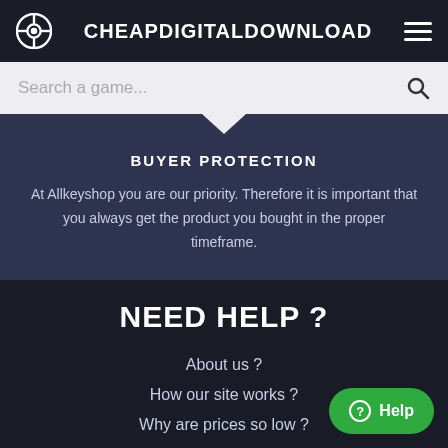CHEAPDIGITALDOWNLOAD
Search a game...
BUYER PROTECTION
At Allkeyshop you are our priority. Therefore it is important that you always get the product you bought in the proper timeframe.
NEED HELP ?
About us ?
How our site works ?
Why are prices so low ?
The key I bought doesn't work